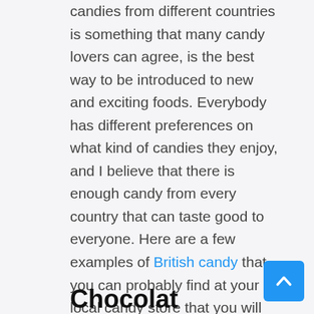candies from different countries is something that many candy lovers can agree, is the best way to be introduced to new and exciting foods. Everybody has different preferences on what kind of candies they enjoy, and I believe that there is enough candy from every country that can taste good to everyone. Here are a few examples of British candy that you can probably find at your local candy store that you will enjoy.
Chocolat...